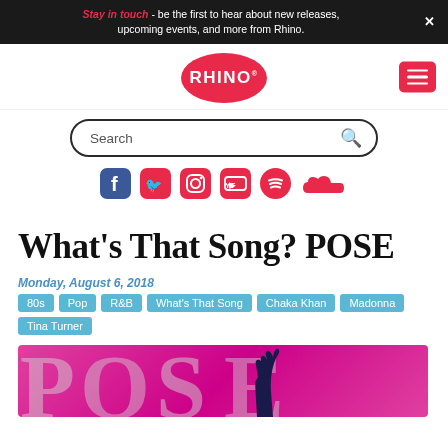Stay in touch - be the first to hear about new releases, upcoming events, and more from Rhino.
[Figure (logo): Rhino Records logo - red oval with white RHINO text]
[Figure (other): Search bar with magnifying glass icon]
[Figure (other): Social media icons row: Facebook, Twitter, Instagram, YouTube, Spotify, SoundCloud]
What's That Song? POSE
Monday, August 6, 2018
80s
Pop
R&B
What's That Song
Chaka Khan
Madonna
Tina Turner
[Figure (photo): POSE TV show promotional image with glittery silver letters on hot pink background with a dark hand silhouette]